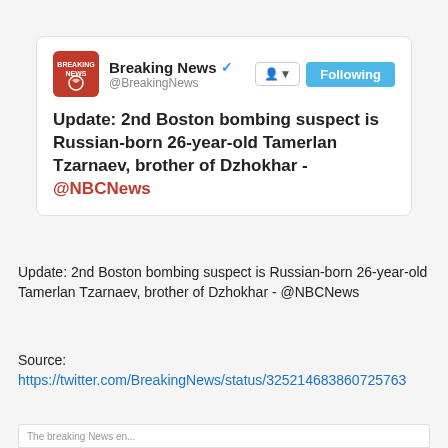[Figure (screenshot): Tweet screenshot from @BreakingNews account with verified badge and Following button. Tweet reads: Update: 2nd Boston bombing suspect is Russian-born 26-year-old Tamerlan Tzarnaev, brother of Dzhokhar - @NBCNews]
Update: 2nd Boston bombing suspect is Russian-born 26-year-old Tamerlan Tzarnaev, brother of Dzhokhar - @NBCNews
Source:
https://twitter.com/BreakingNews/status/32521468386072576 3